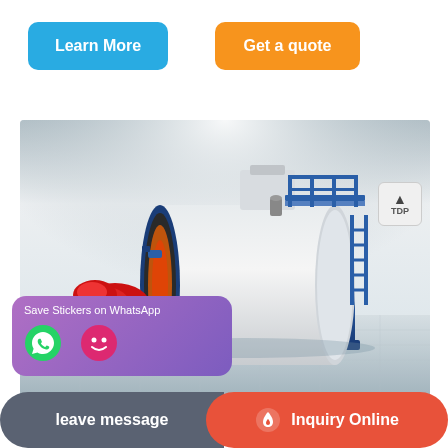Learn More
Get a quote
[Figure (photo): Industrial fire-tube boiler with blue frame, red burner nozzle, walkway grating and handrails, displayed in a studio/warehouse setting with dramatic lighting]
Save Stickers on WhatsApp
leave message
Inquiry Online